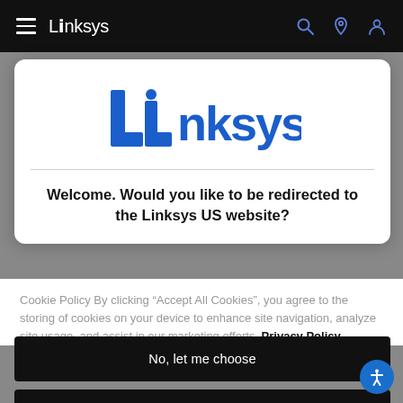[Figure (logo): Linksys navigation bar with hamburger menu, Linksys logo in white, and search/location/account icons on dark background]
[Figure (logo): Linksys blue logo large centered in white modal card]
Welcome. Would you like to be redirected to the Linksys US website?
Cookie Policy By clicking “Accept All Cookies”, you agree to the storing of cookies on your device to enhance site navigation, analyze site usage, and assist in our marketing efforts. Privacy Policy
No, let me choose
Reject All